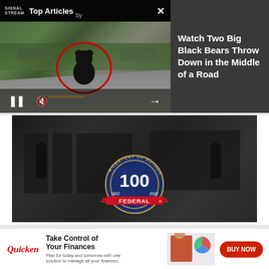[Figure (screenshot): Video player widget showing 'Top Articles' by Signal/Stream with a bear fight video thumbnail. Two black bears fighting in the middle of a road with cars present, circled in red. Video controls (pause, mute, next arrow) visible at bottom. Dark panel on right reads 'Watch Two Big Black Bears Throw Down in the Middle of a Road'.]
Watch Two Big Black Bears Throw Down in the Middle of a Road
[Figure (photo): Black and white historical photograph of a factory floor with workers and machinery, overlaid with a circular badge reading 'A Century of Authority' with '100' and '1922 - 2022' and 'FEDERAL' with logo.]
[Figure (infographic): Quicken advertisement banner. Left: Quicken logo in red italic. Center: 'Take Control of Your Finances' headline, subtext 'Plan for today and tomorrow with one solution to manage all your finances.' Center-right: woman at desk with charts graphic. Right: red 'BUY NOW' button.]